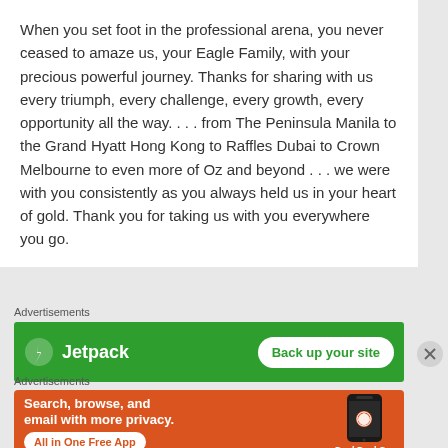When you set foot in the professional arena, you never ceased to amaze us, your Eagle Family, with your precious powerful journey. Thanks for sharing with us every triumph, every challenge, every growth, every opportunity all the way. . . . from The Peninsula Manila to the Grand Hyatt Hong Kong to Raffles Dubai to Crown Melbourne to even more of Oz and beyond . . . we were with you consistently as you always held us in your heart of gold. Thank you for taking us with you everywhere you go.
Advertisements
[Figure (other): Jetpack advertisement banner with green background showing Jetpack logo and 'Back up your site' button]
Advertisements
[Figure (other): DuckDuckGo advertisement banner with orange background showing 'Search, browse, and email with more privacy. All in One Free App' with DuckDuckGo logo and phone illustration]